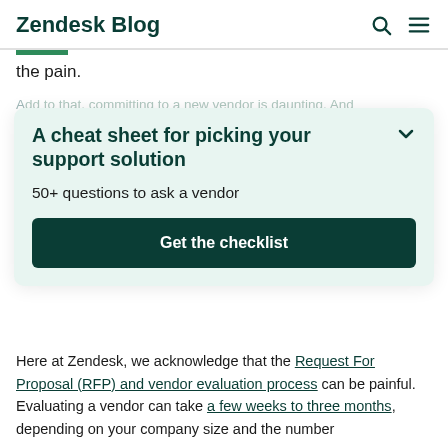Zendesk Blog
the pain.
Add to that, committing to a new vendor is daunting. And a new support solution is a decision that affects the entire (organization). For each internal stakeholder, there are priorities a commitment to your support team that you make their lives easier and that this expense will stick, and you need to convince your leadership team. They'll want to know: Will the new software be a costly mistake, or will it save the business time and money? What are the hidden costs? How does it expand?
[Figure (infographic): A cheat sheet card overlay: 'A cheat sheet for picking your support solution', '50+ questions to ask a vendor', with a 'Get the checklist' button]
Here at Zendesk, we acknowledge that the Request For Proposal (RFP) and vendor evaluation process can be painful. Evaluating a vendor can take a few weeks to three months, depending on your company size and the number